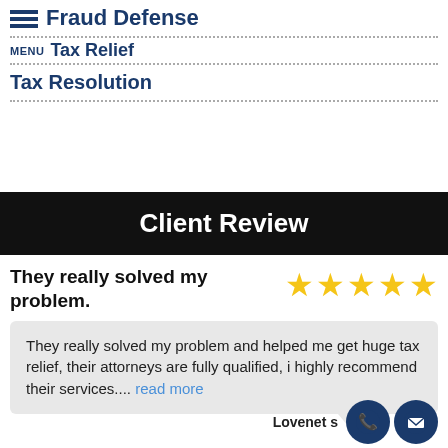Fraud Defense
Tax Relief
Tax Resolution
Client Review
They really solved my problem.
They really solved my problem and helped me get huge tax relief, their attorneys are fully qualified, i highly recommend their services.... read more
Lovenet s